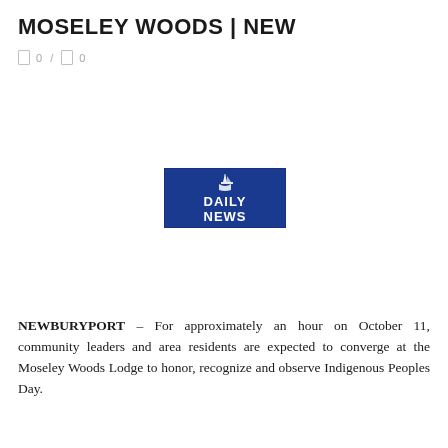MOSELEY WOODS | NEW
0 / 0
[Figure (logo): Daily News logo — blue rectangle with sailing ship icon, bold white text reading DAILY NEWS]
NEWBURYPORT – For approximately an hour on October 11, community leaders and area residents are expected to converge at the Moseley Woods Lodge to honor, recognize and observe Indigenous Peoples Day.